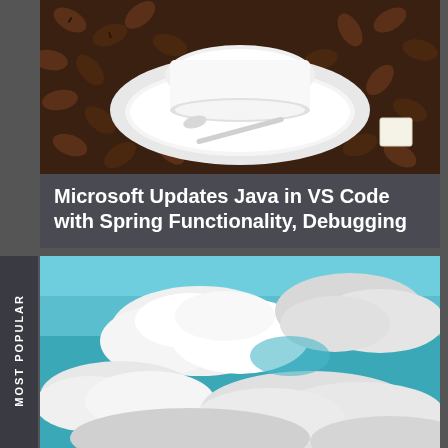[Figure (photo): White coffee cup on a saucer surrounded by coffee beans and a sugar cube, viewed from above on a dark brown background]
Microsoft Updates Java in VS Code with Spring Functionality, Debugging
[Figure (photo): Sky with large white cumulus clouds against a teal/blue sky, bright daytime shot]
MOST POPULAR